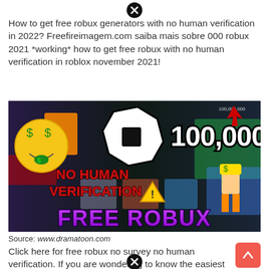How to get free robux generators with no human verification in 2022? Freefireimagem.com saiba mais sobre 000 robux 2021 *working* how to get free robux with no human verification in roblox november 2021!
[Figure (screenshot): Promotional thumbnail image showing Roblox currency '100,000,000' with a money-face emoji, Roblox logo, 'NO HUMAN VERIFICATION' text in red, and 'FREE ROBUX' in large purple letters at the bottom, with a Roblox character wearing a top hat.]
Source: www.dramatoon.com
Click here for free robux no survey no human verification. If you are wondering to know the easiest hack for free robux no human verification, then luckily you have reached the most relevant website.